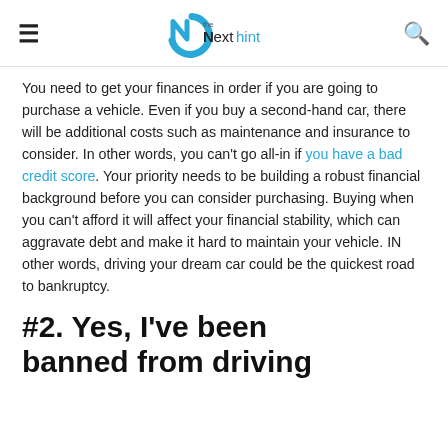the Next hint
You need to get your finances in order if you are going to purchase a vehicle. Even if you buy a second-hand car, there will be additional costs such as maintenance and insurance to consider. In other words, you can't go all-in if you have a bad credit score. Your priority needs to be building a robust financial background before you can consider purchasing. Buying when you can't afford it will affect your financial stability, which can aggravate debt and make it hard to maintain your vehicle. IN other words, driving your dream car could be the quickest road to bankruptcy.
#2. Yes, I've been banned from driving